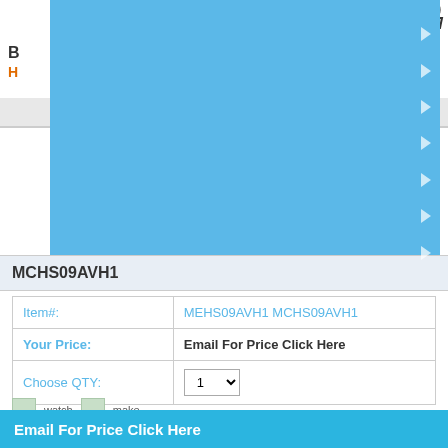[Figure (screenshot): E-commerce product page screenshot showing a blue dropdown navigation overlay, product item number MEHS09AVH1 MCHS09AVH1, price listed as Email For Price Click Here, quantity selector, watchlist icons, and a blue CTA bar at the bottom.]
Item#: MEHS09AVH1 MCHS09AVH1
Your Price: Email For Price Click Here
Choose QTY: 1
watch
make
Email For Price Click Here